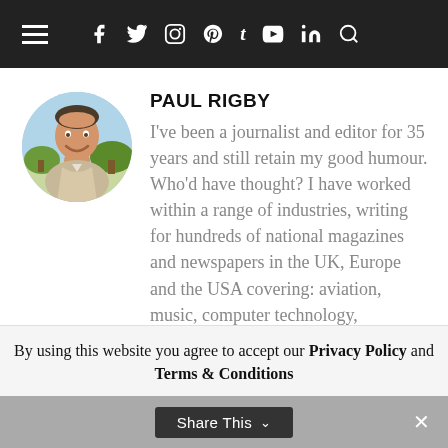≡  f  y  ⊡  ⊛  t  ▶  in  🔍
PAUL RIGBY
[Figure (photo): Circular profile photo of Paul Rigby, a man smiling outdoors]
I've been a journalist and editor for 35 years and still retain my good humour. Who'd have thought? I have worked within a range of industries, writing for hundreds of national magazines and newspapers in the UK, Europe and the USA covering: aviation, music, computer technology,
By using this website you agree to accept our Privacy Policy and Terms & Conditions
Share This